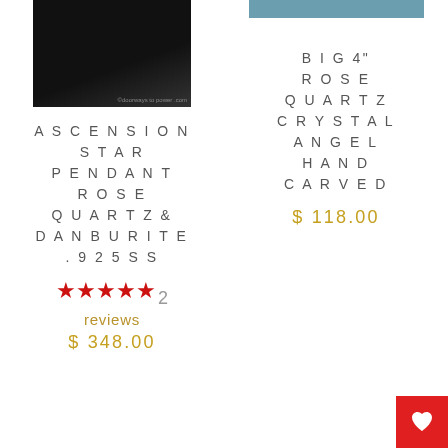[Figure (photo): Dark product photo of Ascension Star Pendant Rose Quartz & Danburite .925 SS jewelry item against black background]
ASCENSION STAR PENDANT ROSE QUARTZ & DANBURITE .925 SS
★★★★★ 2 reviews
$ 348.00
[Figure (photo): Partial product photo of Big 4 inch Rose Quartz Crystal Angel Hand Carved]
BIG 4" ROSE QUARTZ CRYSTAL ANGEL HAND CARVED
$ 118.00